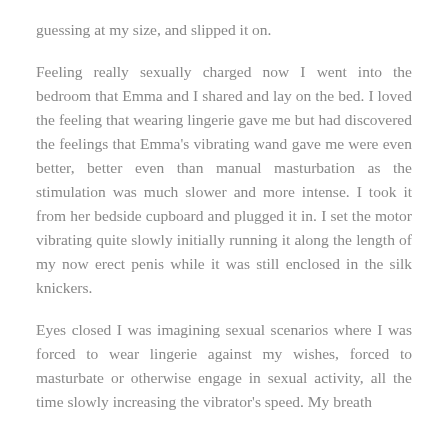guessing at my size, and slipped it on.
Feeling really sexually charged now I went into the bedroom that Emma and I shared and lay on the bed. I loved the feeling that wearing lingerie gave me but had discovered the feelings that Emma's vibrating wand gave me were even better, better even than manual masturbation as the stimulation was much slower and more intense. I took it from her bedside cupboard and plugged it in. I set the motor vibrating quite slowly initially running it along the length of my now erect penis while it was still enclosed in the silk knickers.
Eyes closed I was imagining sexual scenarios where I was forced to wear lingerie against my wishes, forced to masturbate or otherwise engage in sexual activity, all the time slowly increasing the vibrator's speed. My breath